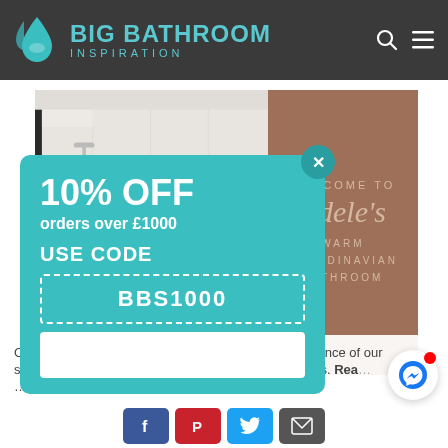BIG BATHROOM INSPIRATION
[Figure (screenshot): Bathroom interior photo showing white walls and bathroom accessories]
[Figure (illustration): Brown card with 'WELCOME TO Adele's WARM SCANDINAVIAN BATHROOM']
[Figure (infographic): Teal popup overlay: 10% OFF orders over £1000 USE CODE BBS1000]
Our website uses cookies to give you the best experience of our site. By using this site, you agree to the use of cookies. Read our policy.
[Figure (infographic): Social share buttons: Facebook, Pinterest, Twitter, Email]